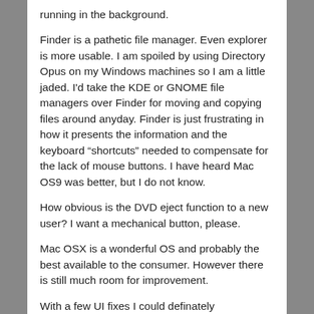running in the background.
Finder is a pathetic file manager. Even explorer is more usable. I am spoiled by using Directory Opus on my Windows machines so I am a little jaded. I'd take the KDE or GNOME file managers over Finder for moving and copying files around anyday. Finder is just frustrating in how it presents the information and the keyboard “shortcuts” needed to compensate for the lack of mouse buttons. I have heard Mac OS9 was better, but I do not know.
How obvious is the DVD eject function to a new user? I want a mechanical button, please.
Mac OSX is a wonderful OS and probably the best available to the consumer. However there is still much room for improvement.
With a few UI fixes I could definately